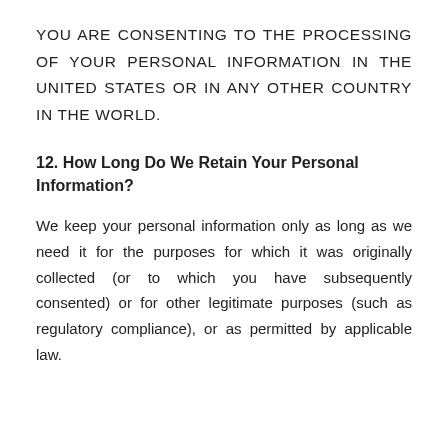YOU ARE CONSENTING TO THE PROCESSING OF YOUR PERSONAL INFORMATION IN THE UNITED STATES OR IN ANY OTHER COUNTRY IN THE WORLD.
12. How Long Do We Retain Your Personal Information?
We keep your personal information only as long as we need it for the purposes for which it was originally collected (or to which you have subsequently consented) or for other legitimate purposes (such as regulatory compliance), or as permitted by applicable law.